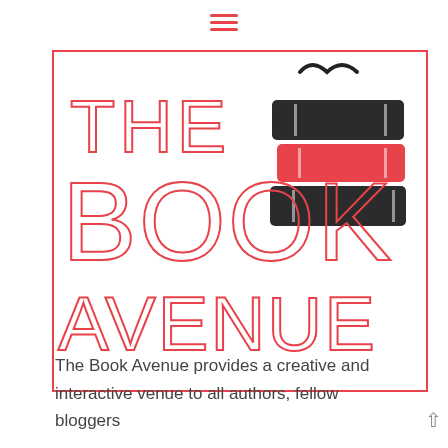[Figure (logo): Hamburger menu icon (three horizontal pink/red lines)]
[Figure (logo): The Book Avenue logo: large outlined pink text reading THE BOOK AVENUE with a stack of books illustration (two dark/black books and one pink book with reading glasses on top) inside a pink-bordered square frame]
The Book Avenue provides a creative and interactive venue to all authors, fellow bloggers